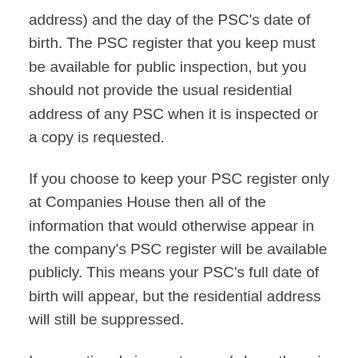address) and the day of the PSC's date of birth. The PSC register that you keep must be available for public inspection, but you should not provide the usual residential address of any PSC when it is inspected or a copy is requested.
If you choose to keep your PSC register only at Companies House then all of the information that would otherwise appear in the company's PSC register will be available publicly. This means your PSC's full date of birth will appear, but the residential address will still be suppressed.
In exceptional circumstances (where there is a serious risk of violence or intimidation) there is a regime for